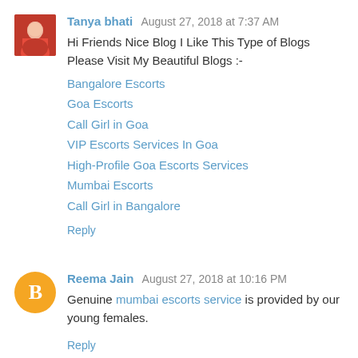Tanya bhati  August 27, 2018 at 7:37 AM
Hi Friends Nice Blog I Like This Type of Blogs Please Visit My Beautiful Blogs :-
Bangalore Escorts
Goa Escorts
Call Girl in Goa
VIP Escorts Services In Goa
High-Profile Goa Escorts Services
Mumbai Escorts
Call Girl in Bangalore
Reply
Reema Jain  August 27, 2018 at 10:16 PM
Genuine mumbai escorts service is provided by our young females.
Reply